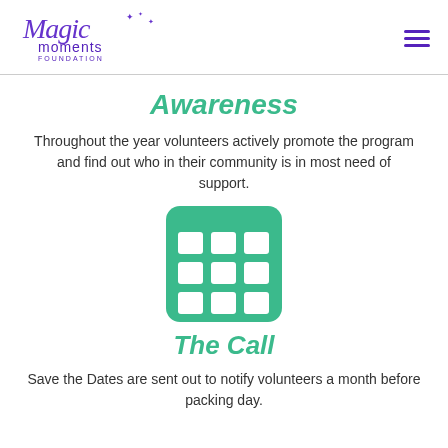[Figure (logo): Magic Moments Foundation logo with purple stylized text and star decorations]
Awareness
Throughout the year volunteers actively promote the program and find out who in their community is in most need of support.
[Figure (illustration): Green calendar/grid icon with 3x3 grid of white cells and rounded corners]
The Call
Save the Dates are sent out to notify volunteers a month before packing day.